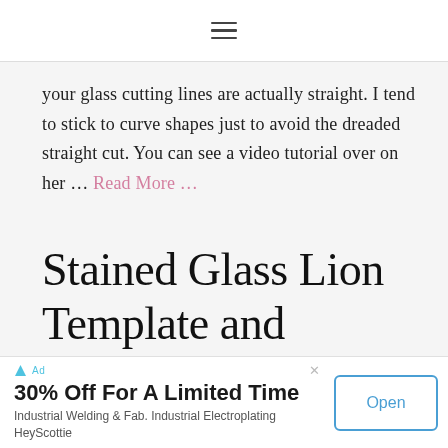≡
your glass cutting lines are actually straight. I tend to stick to curve shapes just to avoid the dreaded straight cut. You can see a video tutorial over on her … Read More …
Stained Glass Lion Template and Tutorial
30% Off For A Limited Time
Industrial Welding & Fab. Industrial Electroplating HeyScottie